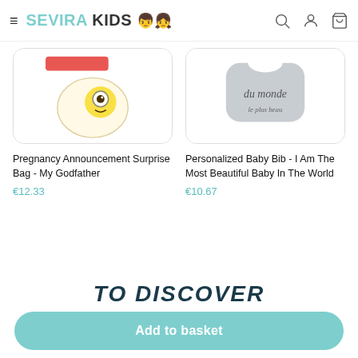SEVIRA KIDS
[Figure (photo): Product image of Pregnancy Announcement Surprise Bag - My Godfather, showing a surprise bag with characters]
Pregnancy Announcement Surprise Bag - My Godfather
€12.33
[Figure (photo): Product image of Personalized Baby Bib showing a grey bib with cursive text 'du monde']
Personalized Baby Bib - I Am The Most Beautiful Baby In The World
€10.67
TO DISCOVER
Add to basket